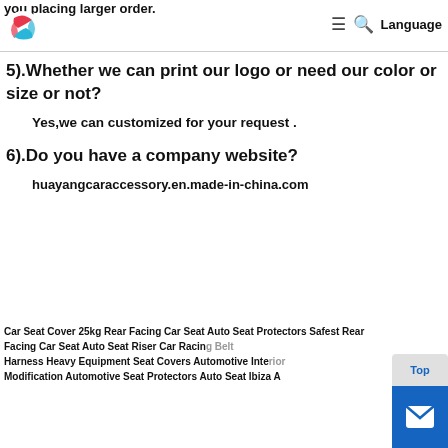you placing larger order.
[Figure (logo): Circular logo with pink/red and teal swoosh shapes]
≡  🔍  Language
5).Whether we can print our logo or need our color or size or not?
Yes,we can customized for your request .
6).Do you have a company website?
huayangcaraccessory.en.made-in-china.com
Car Seat Cover 25kg Rear Facing Car Seat Auto Seat Protectors Safest Rear Facing Car Seat Auto Seat Riser Car Racing Belt Harness Heavy Equipment Seat Covers Automotive Interior Modification Automotive Seat Protectors Auto Seat Ibiza A